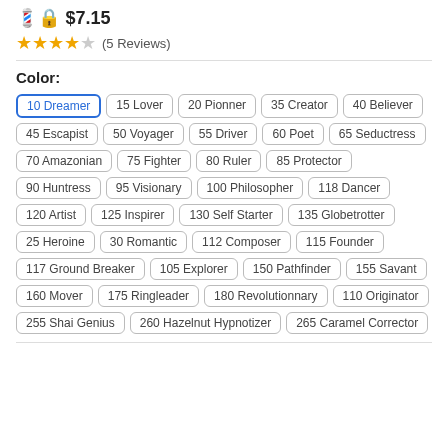💈🔒 $7.15
★★★★☆ (5 Reviews)
Color:
10 Dreamer
15 Lover
20 Pionner
35 Creator
40 Believer
45 Escapist
50 Voyager
55 Driver
60 Poet
65 Seductress
70 Amazonian
75 Fighter
80 Ruler
85 Protector
90 Huntress
95 Visionary
100 Philosopher
118 Dancer
120 Artist
125 Inspirer
130 Self Starter
135 Globetrotter
25 Heroine
30 Romantic
112 Composer
115 Founder
117 Ground Breaker
105 Explorer
150 Pathfinder
155 Savant
160 Mover
175 Ringleader
180 Revolutionnary
110 Originator
255 Shai Genius
260 Hazelnut Hypnotizer
265 Caramel Corrector